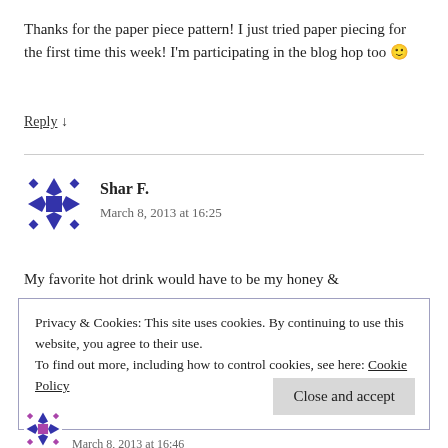Thanks for the paper piece pattern! I just tried paper piecing for the first time this week! I'm participating in the blog hop too 🙂
Reply ↓
[Figure (illustration): Blue geometric quilt-style avatar icon for Shar F.]
Shar F.
March 8, 2013 at 16:25
My favorite hot drink would have to be my honey &
Privacy & Cookies: This site uses cookies. By continuing to use this website, you agree to their use.
To find out more, including how to control cookies, see here: Cookie Policy
Close and accept
[Figure (illustration): Blue/pink geometric quilt-style avatar icon at bottom]
March 8, 2013 at 16:46